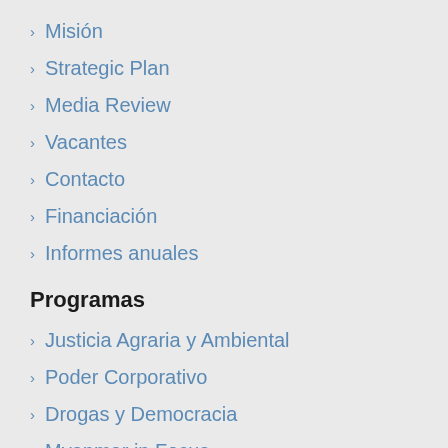Misión
Strategic Plan
Media Review
Vacantes
Contacto
Financiación
Informes anuales
Programas
Justicia Agraria y Ambiental
Poder Corporativo
Drogas y Democracia
Myanmar in Focus